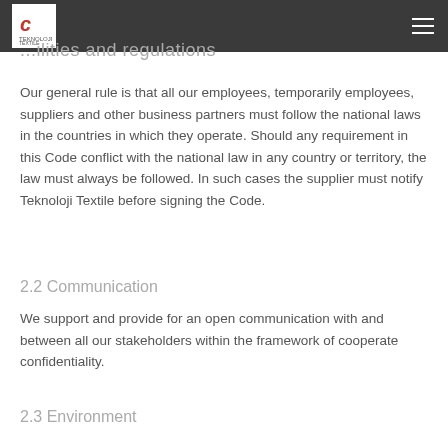Teknoloji Textile
...ilities and regulations
Our general rule is that all our employees, temporarily employees, suppliers and other business partners must follow the national laws in the countries in which they operate. Should any requirement in this Code conflict with the national law in any country or territory, the law must always be followed. In such cases the supplier must notify Teknoloji Textile before signing the Code.
2.2 Communication
We support and provide for an open communication with and between all our stakeholders within the framework of cooperate confidentiality.
2.3 Environment